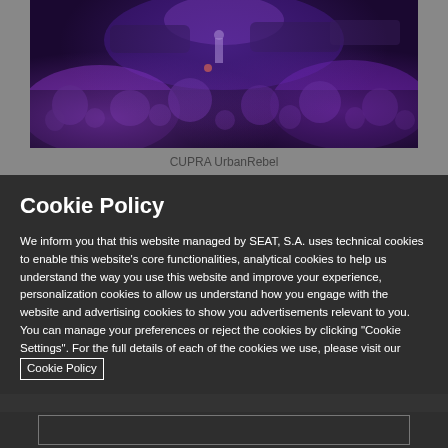[Figure (photo): Dark photo of a car presentation event with purple/violet stage lighting and a crowd silhouetted in foreground, cars visible on stage]
CUPRA UrbanRebel
Cookie Policy
We inform you that this website managed by SEAT, S.A. uses technical cookies to enable this website's core functionalities, analytical cookies to help us understand the way you use this website and improve your experience, personalization cookies to allow us understand how you engage with the website and advertising cookies to show you advertisements relevant to you. You can manage your preferences or reject the cookies by clicking "Cookie Settings". For the full details of each of the cookies we use, please visit our Cookie Policy